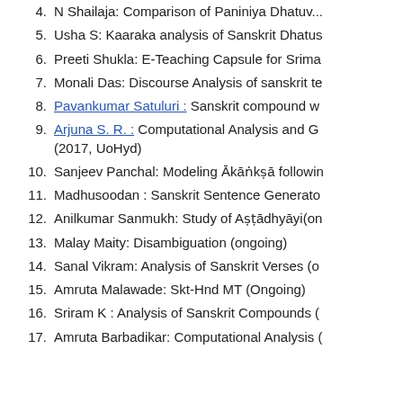4. N Shailaja: Comparison of Paniniya Dhatuv...
5. Usha S: Kaaraka analysis of Sanskrit Dhatus
6. Preeti Shukla: E-Teaching Capsule for Srima
7. Monali Das: Discourse Analysis of sanskrit te
8. Pavankumar Satuluri : Sanskrit compound w
9. Arjuna S. R. : Computational Analysis and G (2017, UoHyd)
10. Sanjeev Panchal: Modeling Ākāṅkṣā followin
11. Madhusoodan : Sanskrit Sentence Generato
12. Anilkumar Sanmukh: Study of Aṣṭādhyāyi(on
13. Malay Maity: Disambiguation (ongoing)
14. Sanal Vikram: Analysis of Sanskrit Verses (o
15. Amruta Malawade: Skt-Hnd MT (Ongoing)
16. Sriram K : Analysis of Sanskrit Compounds (
17. Amruta Barbadikar: Computational Analysis (